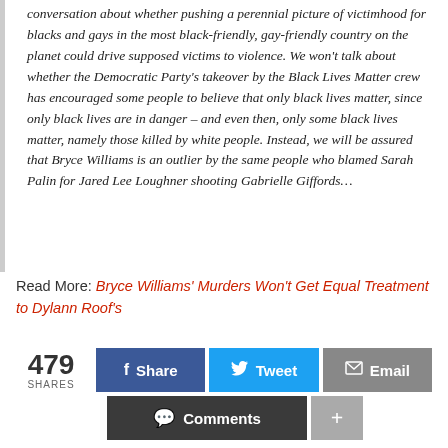conversation about whether pushing a perennial picture of victimhood for blacks and gays in the most black-friendly, gay-friendly country on the planet could drive supposed victims to violence. We won't talk about whether the Democratic Party's takeover by the Black Lives Matter crew has encouraged some people to believe that only black lives matter, since only black lives are in danger – and even then, only some black lives matter, namely those killed by white people. Instead, we will be assured that Bryce Williams is an outlier by the same people who blamed Sarah Palin for Jared Lee Loughner shooting Gabrielle Giffords…
Read More: Bryce Williams' Murders Won't Get Equal Treatment to Dylann Roof's
479 SHARES